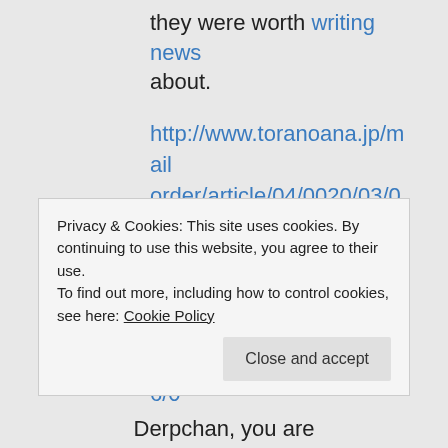they were worth writing news about.
http://www.toranoana.jp/mailorder/article/04/0020/03/04/040020030407.html
http://www.toranoana.jp/mailorder/article/04/0020/03/16/040020031601.html
↳ Reply
Privacy & Cookies: This site uses cookies. By continuing to use this website, you agree to their use.
To find out more, including how to control cookies, see here: Cookie Policy
Close and accept
Derpchan, you are